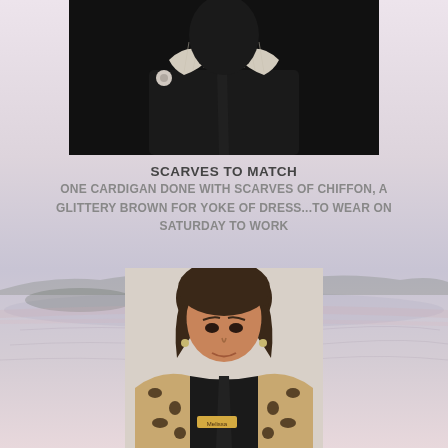[Figure (photo): Photo of a person wearing a dark outfit with white lace collar detail, shown from shoulders up against a dark background]
SCARVES TO MATCH
ONE CARDIGAN DONE WITH SCARVES OF CHIFFON, A GLITTERY BROWN FOR YOKE OF DRESS...TO WEAR ON SATURDAY TO WORK
[Figure (photo): Photo of a middle-aged woman with dark hair wearing a leopard print cardigan over a dark top, standing in front of a light-colored wall]